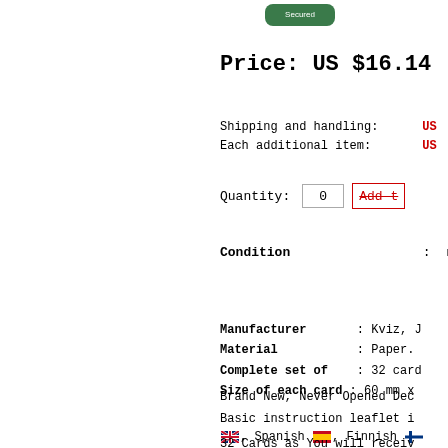[Figure (logo): Small green logo/badge at top center]
Price: US $16.14
Shipping and handling:  US
Each additional item:   US
Quantity: 0  Add to
Condition  :  new.
Manufacturer       : Kviz, J
Material           : Paper.
Complete set of    : 32 card
Size of each card  : 60 mm x
Brand New, Never Opened Dec
Basic instruction leaflet i
, Spanish , Finnish
Norwegian , Portuguese
32 Cards as You will receiv